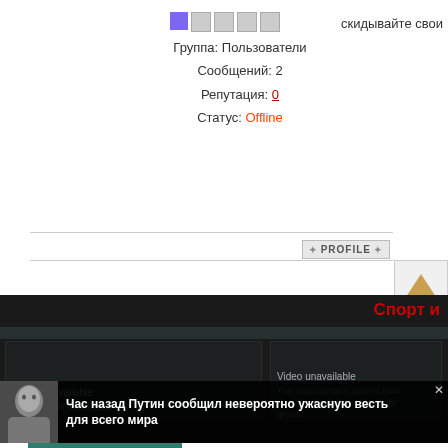[Figure (screenshot): Rank icons - one filled purple square and four empty gray squares]
Группа: Пользователи
Сообщений: 2
Репутация: 0
Статус: Offline
скидывайте свои
[Figure (screenshot): PROFILE button with decorative symbols]
[Figure (screenshot): Up arrow navigation button in orange/gold color]
Форум » Test category » Test forum » Akverariz
Страница 2 из 3  «  1  2  3  »
[Figure (screenshot): Down arrow navigation button in orange/gold color]
Быстрый вход
Спорт и
[Figure (screenshot): Video unavailable box 1 - dark background video placeholder]
[Figure (screenshot): Video unavailable box 2 - dark background video placeholder]
[Figure (screenshot): Ad overlay with Putin photo and Russian text: Час назад Путин сообщил невероятно ужасную весть для всего мира]